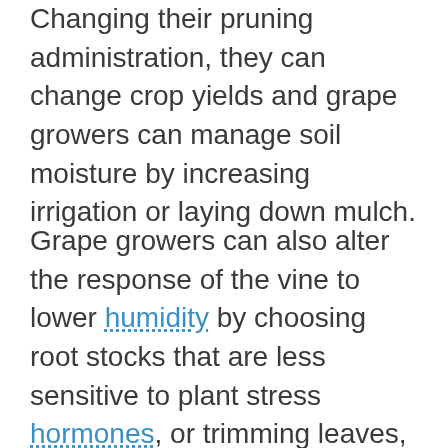Changing their pruning administration, they can change crop yields and grape growers can manage soil moisture by increasing irrigation or laying down mulch.
Grape growers can also alter the response of the vine to lower humidity by choosing root stocks that are less sensitive to plant stress hormones, or trimming leaves, the authors suggest.
Uncertainties face by other crops due to climate change can be helped through analytical approach based on the study published online in the journal Nature Climate Change.
Floods and droughts brought about by the